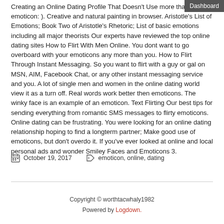Dashboard
Creating an Online Dating Profile That Doesn't Use more than one emoticon: ). Creative and natural painting in browser. Aristotle's List of Emotions; Book Two of Aristotle's Rhetoric; List of basic emotions including all major theorists Our experts have reviewed the top online dating sites How to Flirt With Men Online. You dont want to go overboard with your emoticons any more than you. How to Flirt Through Instant Messaging. So you want to flirt with a guy or gal on MSN, AIM, Facebook Chat, or any other instant messaging service and you. A lot of single men and women in the online dating world view it as a turn off. Real words work better then emoticons. The winky face is an example of an emoticon. Text Flirting Our best tips for sending everything from romantic SMS messages to flirty emoticons. Online dating can be frustrating. You were looking for an online dating relationship hoping to find a longterm partner; Make good use of emoticons, but don't overdo it. If you've ever looked at online and local personal ads and wonder Smiley Faces and Emoticons 3.
October 19, 2017     emoticon, online, dating
Copyright © worthtacwhaly1982
Powered by Logdown.